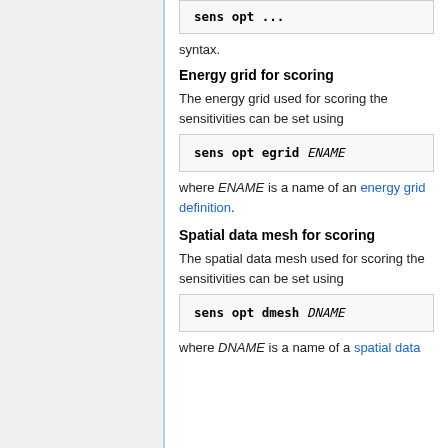sens opt ...
syntax.
Energy grid for scoring
The energy grid used for scoring the sensitivities can be set using
sens opt egrid ENAME
where ENAME is a name of an energy grid definition.
Spatial data mesh for scoring
The spatial data mesh used for scoring the sensitivities can be set using
sens opt dmesh DNAME
where DNAME is a name of a spatial data